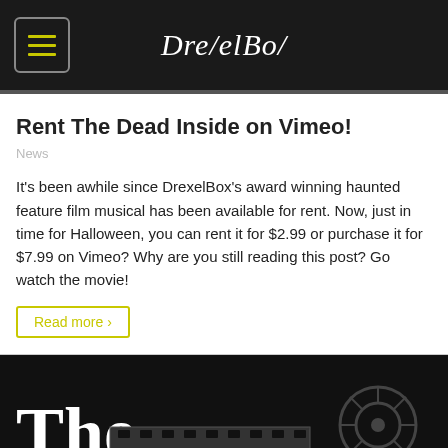DrexelBot
Rent The Dead Inside on Vimeo!
News
It's been awhile since DrexelBox's award winning haunted feature film musical has been available for rent. Now, just in time for Halloween, you can rent it for $2.99 or purchase it for $7.99 on Vimeo? Why are you still reading this post? Go watch the movie!
Read more >
[Figure (photo): Movie title card on black background showing 'The' in large white serif font with film reel graphic elements]